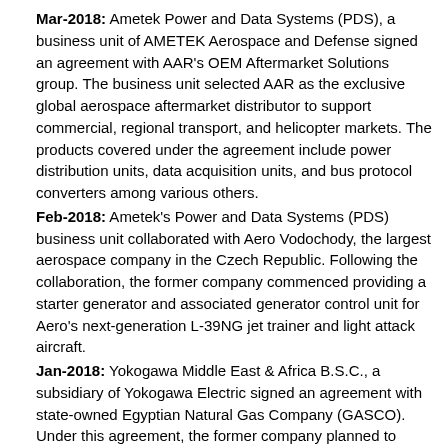Mar-2018: Ametek Power and Data Systems (PDS), a business unit of AMETEK Aerospace and Defense signed an agreement with AAR's OEM Aftermarket Solutions group. The business unit selected AAR as the exclusive global aerospace aftermarket distributor to support commercial, regional transport, and helicopter markets. The products covered under the agreement include power distribution units, data acquisition units, and bus protocol converters among various others.
Feb-2018: Ametek's Power and Data Systems (PDS) business unit collaborated with Aero Vodochody, the largest aerospace company in the Czech Republic. Following the collaboration, the former company commenced providing a starter generator and associated generator control unit for Aero's next-generation L-39NG jet trainer and light attack aircraft.
Jan-2018: Yokogawa Middle East & Africa B.S.C., a subsidiary of Yokogawa Electric signed an agreement with state-owned Egyptian Natural Gas Company (GASCO). Under this agreement, the former company planned to replace the management and supervisory control and data acquisition (SCADA) systems at two central grid control centers, which manages and controls the flow of gas.
Acquisition and Mergers:
Oct-2019: Rockwell Automation acquired MESTECH Services, a global provider of Manufacturing Execution Systems /...